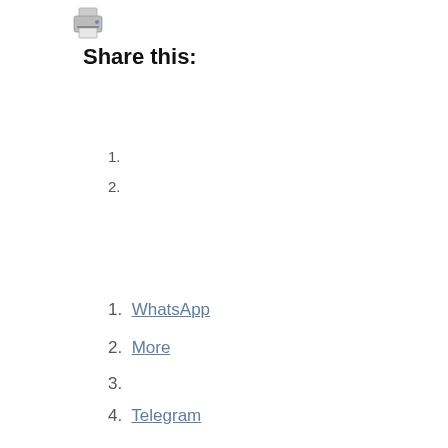[Figure (illustration): Printer icon image]
Share this:
1.
2.
1. WhatsApp
2. More
3.
4. Telegram
5.
1.
2. Email